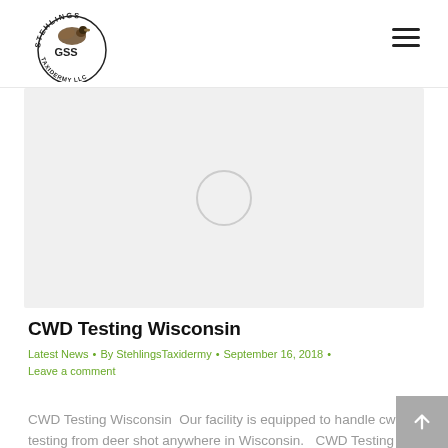Stehlings Taxidermy LLC — Navigation header with logo and hamburger menu
[Figure (photo): Hero image placeholder — light gray rectangle with a circular loading/placeholder indicator in the center]
CWD Testing Wisconsin
Latest News  •  By StehlingsTaxidermy  •  September 16, 2018  •  Leave a comment
CWD Testing Wisconsin  Our facility is equipped to handle cwd testing from deer shot anywhere in Wisconsin.   CWD Testing Wisconsin -Deer Hunters !